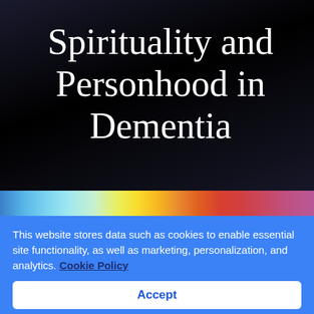[Figure (photo): Book cover with black/dark background showing the title 'Spirituality and Personhood in Dementia' in white serif font, with a colorful abstract strip at the bottom]
This website stores data such as cookies to enable essential site functionality, as well as marketing, personalization, and analytics. Cookie Policy
Accept
Deny